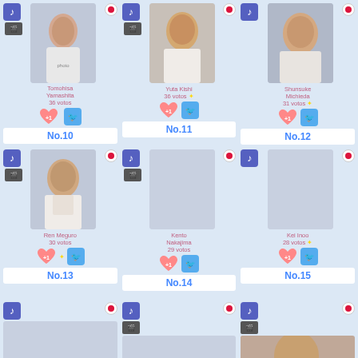[Figure (infographic): Voting ranking cards for Japanese male celebrities. Shows No.10 through No.15 with photos, vote counts, music/film icons, Japan flag, heart +1 button, and Twitter button. Top row: Tomohisa Yamashita 36 votos (No.10), Yuta Kishi 36 votos (No.11), Shunsuke Michieda 31 votos (No.12). Bottom row: Ren Meguro 30 votos (No.13), Kento Nakajima 29 votos (No.14), Kei Inoo 28 votos (No.15). Bottom section shows partial new set starting.]